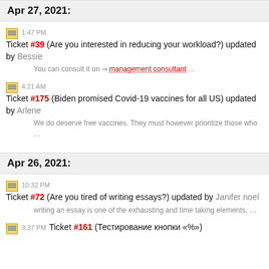Apr 27, 2021:
1:47 PM Ticket #39 (Are you interested in reducing your workload?) updated by Bessie
You can consult it on ⇒ management consultant …
4:21 AM Ticket #175 (Biden promised Covid-19 vaccines for all US) updated by Arlene
We do deserve free vaccines. They must however prioritize those who …
Apr 26, 2021:
10:32 PM Ticket #72 (Are you tired of writing essays?) updated by Janifer noel
writing an essay is one of the exhausting and time taking elements, …
3:37 PM Ticket #161 (Тестирование кнопки «%»)